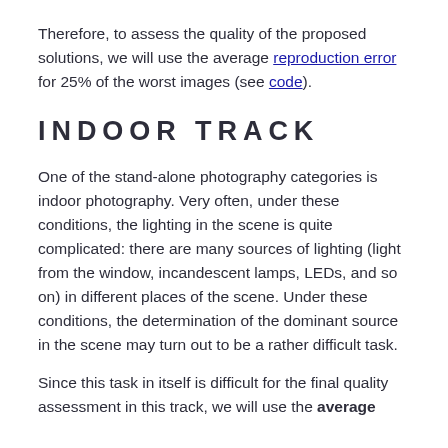Therefore, to assess the quality of the proposed solutions, we will use the average reproduction error for 25% of the worst images (see code).
INDOOR TRACK
One of the stand-alone photography categories is indoor photography. Very often, under these conditions, the lighting in the scene is quite complicated: there are many sources of lighting (light from the window, incandescent lamps, LEDs, and so on) in different places of the scene. Under these conditions, the determination of the dominant source in the scene may turn out to be a rather difficult task.
Since this task in itself is difficult for the final quality assessment in this track, we will use the average